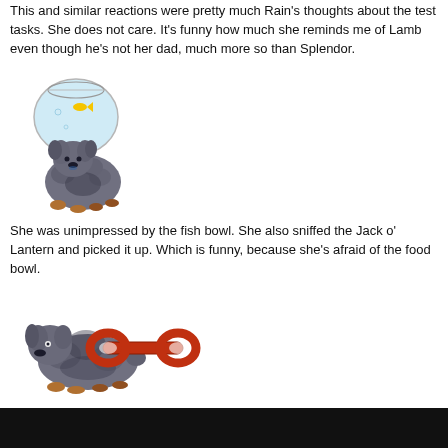This and similar reactions were pretty much Rain's thoughts about the test tasks. She does not care. It's funny how much she reminds me of Lamb even though he's not her dad, much more so than Splendor.
[Figure (illustration): Pixel art illustration of a fluffy dark gray dog sitting next to a round fish bowl containing a small yellow fish.]
She was unimpressed by the fish bowl. She also sniffed the Jack o' Lantern and picked it up. Which is funny, because she's afraid of the food bowl.
[Figure (illustration): Pixel art illustration of a fluffy dark gray dog holding a red rubber tug toy shaped like a dumbbell in its mouth.]
She's absolutely OBSESSED with playing tug. When given a choice of